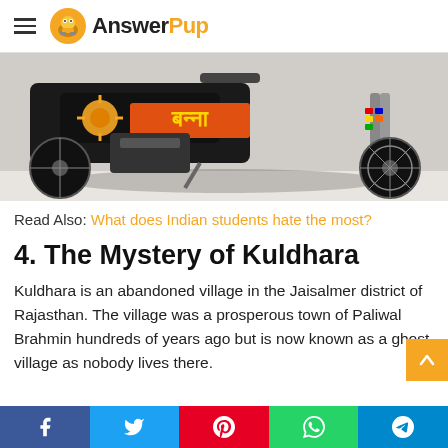AnswerPup
[Figure (photo): Close-up photo of a decorated motorcycle with Hindi text (Banna) and colorful decorations on the front fork, displayed on a white floor.]
Read Also: What does Indian students hate the most?
4. The Mystery of Kuldhara
Kuldhara is an abandoned village in the Jaisalmer district of Rajasthan. The village was a prosperous town of Paliwal Brahmin hundreds of years ago but is now known as a ghost village as nobody lives there.